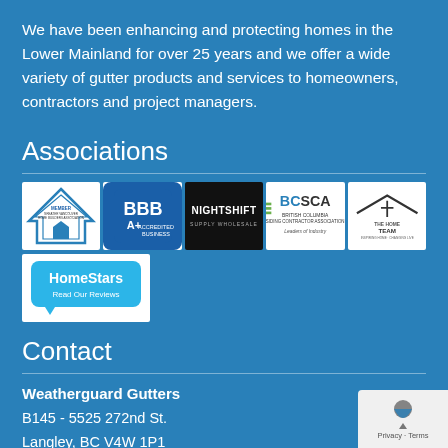We have been enhancing and protecting homes in the Lower Mainland for over 25 years and we offer a wide variety of gutter products and services to homeowners, contractors and project managers.
Associations
[Figure (logo): Row of association logos: Greater Vancouver Home Builders Association, BBB A+ Accredited Business, Nightshift, BCSCA British Columbia Siding Contractor Association Leaders of Industry, The Home Team]
[Figure (logo): HomeStars Read Our Reviews badge]
Contact
Weatherguard Gutters
B145 - 5525 272nd St.
Langley, BC V4W 1P1